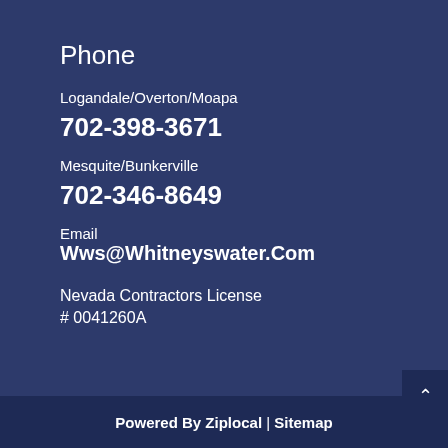Phone
Logandale/Overton/Moapa
702-398-3671
Mesquite/Bunkerville
702-346-8649
Email
Wws@Whitneyswater.Com
Nevada Contractors License # 0041260A
Powered By Ziplocal | Sitemap